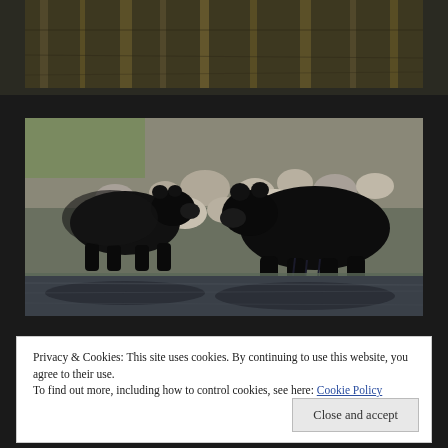[Figure (photo): Partial top image showing water reflections with autumn colors — appears to be a river or lake scene, cropped at the top of the page]
[Figure (photo): Two black bears walking along a rocky riverbank. The bears are walking toward each other near the water's edge. Rocky shoreline with sparse vegetation visible in background. Water reflection visible in the lower half of the image.]
Privacy & Cookies: This site uses cookies. By continuing to use this website, you agree to their use.
To find out more, including how to control cookies, see here: Cookie Policy
Close and accept